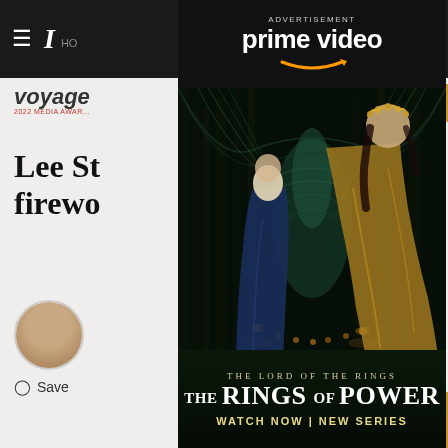Navigation bar with hamburger menu and newspaper logo, HO... nav items
[Figure (screenshot): Website background showing Voyager logo, 2022 MEDIA AWARD text, SUBSCRIBE button, and article title starting with 'Lee St... firewc...' with author avatar and Save button]
[Figure (illustration): Amazon Prime Video advertisement overlay showing 'The Lord of the Rings: The Rings of Power' promotional poster with two elven women in a forest. Text reads: ADVERTISEMENT, prime video, THE LORD OF THE RINGS, THE RINGS OF POWER, WATCH NOW | NEW SERIES. Close button (X) in top right corner in light blue.]